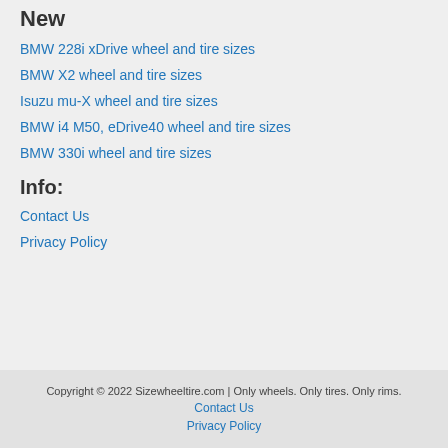New
BMW 228i xDrive wheel and tire sizes
BMW X2 wheel and tire sizes
Isuzu mu-X wheel and tire sizes
BMW i4 M50, eDrive40 wheel and tire sizes
BMW 330i wheel and tire sizes
Info:
Contact Us
Privacy Policy
Copyright © 2022 Sizewheeltire.com | Only wheels. Only tires. Only rims.
Contact Us
Privacy Policy